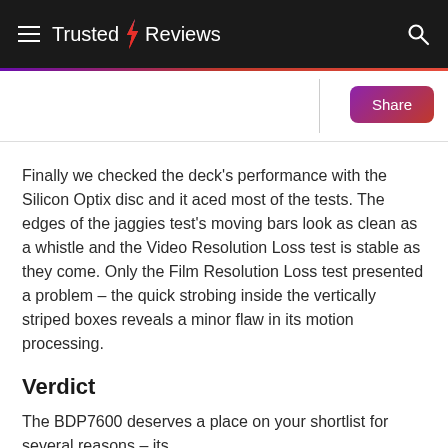Trusted Reviews
Finally we checked the deck's performance with the Silicon Optix disc and it aced most of the tests. The edges of the jaggies test's moving bars look as clean as a whistle and the Video Resolution Loss test is stable as they come. Only the Film Resolution Loss test presented a problem – the quick strobing inside the vertically striped boxes reveals a minor flaw in its motion processing.
Verdict
The BDP7600 deserves a place on your shortlist for several reasons – its elegant design, satisfying build quality, dazzling 2D and 3D